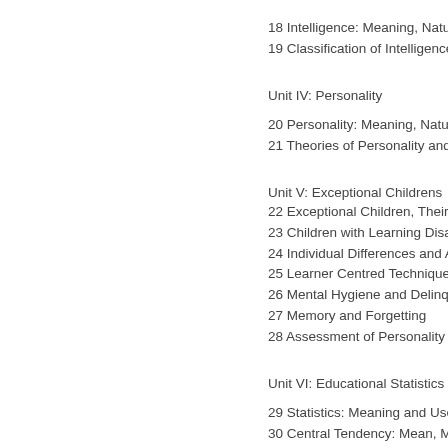18 Intelligence: Meaning, Nature,
19 Classification of Intelligence Te
Unit IV: Personality
20 Personality: Meaning, Nature,
21 Theories of Personality and Th
Unit V: Exceptional Childrens
22 Exceptional Children, Their Ed
23 Children with Learning Disabili
24 Individual Differences and Acc
25 Learner Centred Techniques fo
26 Mental Hygiene and Delinquen
27 Memory and Forgetting
28 Assessment of Personality
Unit VI: Educational Statistics
29 Statistics: Meaning and Uses:
30 Central Tendency: Mean, Medi
31 Measurement of Variability: Sta
32 Correlation: Rank Difference, M